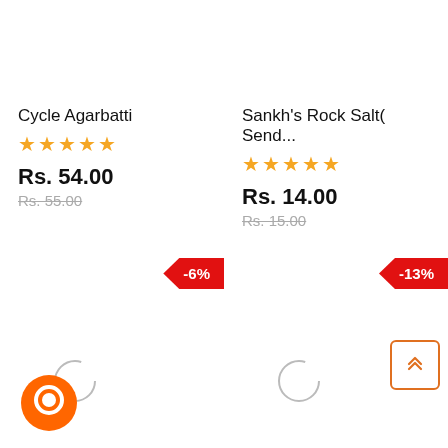Cycle Agarbatti
★★★★★
Rs. 54.00
Rs. 55.00
-6%
Sankh's Rock Salt( Send...
★★★★★
Rs. 14.00
Rs. 15.00
-13%
[Figure (illustration): Scroll-to-top button with double up-arrow chevron icon, orange border, white background]
[Figure (illustration): Orange circular chat/messenger icon in bottom left]
[Figure (illustration): Two loading spinner circles, one in each product column]